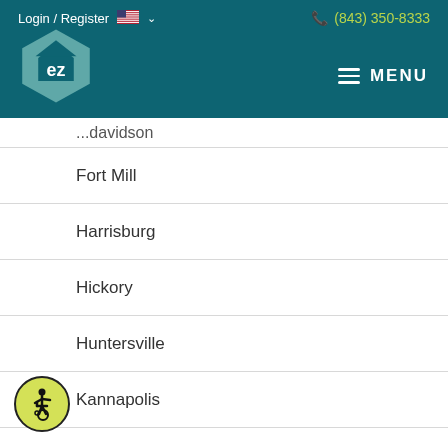Login / Register  (843) 350-8333
[Figure (logo): EZ home logo hexagon with 'ez' text, teal colored]
Davidson (partial, cut off)
Fort Mill
Harrisburg
Hickory
Huntersville
Kannapolis
Kings Mountain
Lincolnton
[Figure (illustration): Accessibility wheelchair user icon in a yellow-green circle with black border]